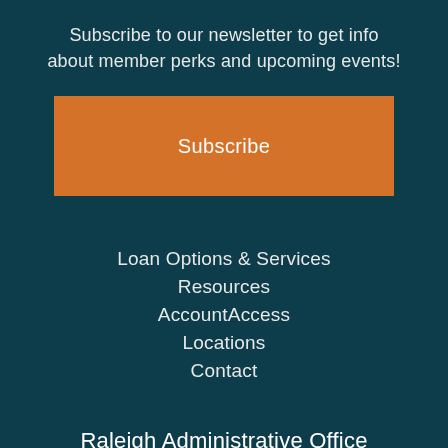Subscribe to our newsletter to get info about member perks and upcoming events!
[Figure (other): Orange Subscribe button]
Loan Options & Services
Resources
AccountAccess
Locations
Contact
Raleigh Administrative Office
marketing@agcarolina.com